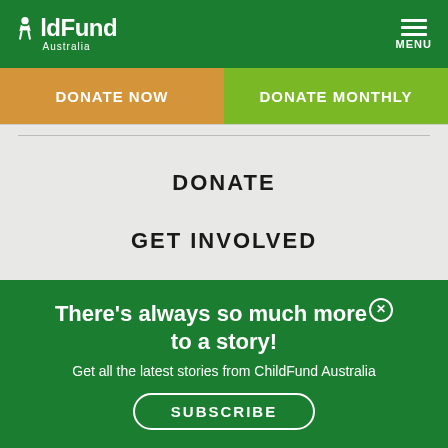ChildFund Australia | MENU
DONATE NOW
DONATE MONTHLY
DONATE
GET INVOLVED
ABOUT US
There’s always so much more to a story!
Get all the latest stories from ChildFund Australia
SUBSCRIBE